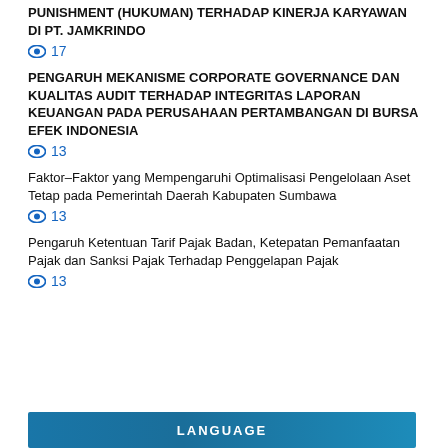PUNISHMENT (HUKUMAN) TERHADAP KINERJA KARYAWAN DI PT. JAMKRINDO
👁 17
PENGARUH MEKANISME CORPORATE GOVERNANCE DAN KUALITAS AUDIT TERHADAP INTEGRITAS LAPORAN KEUANGAN PADA PERUSAHAAN PERTAMBANGAN DI BURSA EFEK INDONESIA
👁 13
Faktor–Faktor yang Mempengaruhi Optimalisasi Pengelolaan Aset Tetap pada Pemerintah Daerah Kabupaten Sumbawa
👁 13
Pengaruh Ketentuan Tarif Pajak Badan, Ketepatan Pemanfaatan Pajak dan Sanksi Pajak Terhadap Penggelapan Pajak
👁 13
LANGUAGE